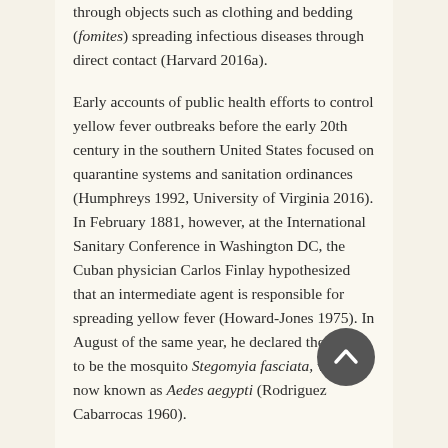through objects such as clothing and bedding (fomites) spreading infectious diseases through direct contact (Harvard 2016a).
Early accounts of public health efforts to control yellow fever outbreaks before the early 20th century in the southern United States focused on quarantine systems and sanitation ordinances (Humphreys 1992, University of Virginia 2016). In February 1881, however, at the International Sanitary Conference in Washington DC, the Cuban physician Carlos Finlay hypothesized that an intermediate agent is responsible for spreading yellow fever (Howard-Jones 1975). In August of the same year, he declared the vector to be the mosquito Stegomyia fasciata, which is now known as Aedes aegypti (Rodriguez Cabarrocas 1960).
Finlay's findings were a driving force in the creation of the 4th consecutive United States Yellow Fever Commission...